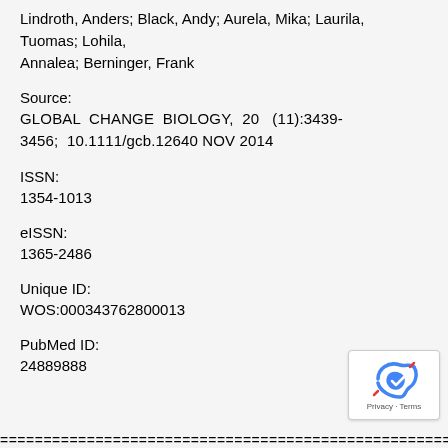Lindroth, Anders; Black, Andy; Aurela, Mika; Laurila, Tuomas; Lohila, Annalea; Berninger, Frank
Source:
GLOBAL CHANGE BIOLOGY, 20 (11):3439-3456; 10.1111/gcb.12640 NOV 2014
ISSN:
1354-1013
eISSN:
1365-2486
Unique ID:
WOS:000343762800013
PubMed ID:
24889888
================================================================